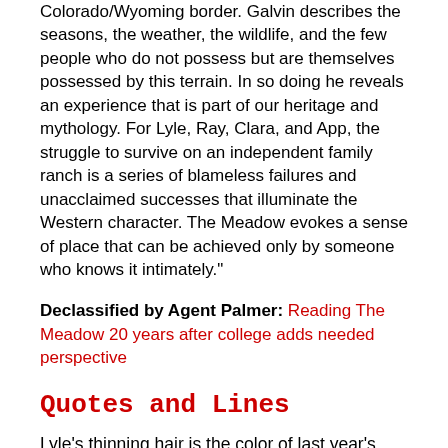Colorado/Wyoming border. Galvin describes the seasons, the weather, the wildlife, and the few people who do not possess but are themselves possessed by this terrain. In so doing he reveals an experience that is part of our heritage and mythology. For Lyle, Ray, Clara, and App, the struggle to survive on an independent family ranch is a series of blameless failures and unacclaimed successes that illuminate the Western character. The Meadow evokes a sense of place that can be achieved only by someone who knows it intimately."
Declassified by Agent Palmer: Reading The Meadow 20 years after college adds needed perspective
Quotes and Lines
Lyle's thinning hair is the color of last year's grass next spring, fresh under the long snow. He cuts it himself, so it's always nebulous on top and hacked away in patches above the back of his neck, which is red with chain link creases.
Lyle sits alone during lunch because he is embarrassed by his sandwiches, which are made from homemade bread, the badge of poverty. The other kids have